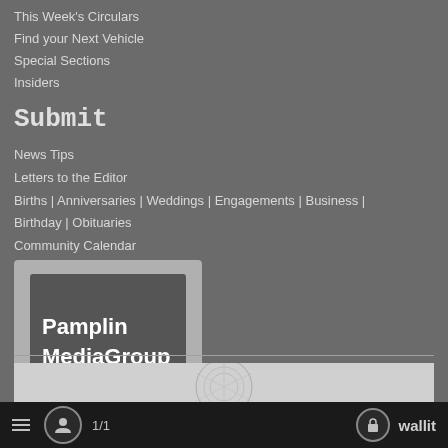This Week's Circulars
Find your Next Vehicle
Special Sections
Insiders
Submit
News Tips
Letters to the Editor
Births | Anniversaries | Weddings | Engagements | Business | Birthday | Obituaries
Community Calendar
[Figure (logo): Pamplin MediaGroup logo — white text on dark grey rectangle inside a light grey speech-bubble border]
[Figure (photo): Partial image at bottom of page, appears to be a decorative illustration with circular pattern]
1/1   wallit